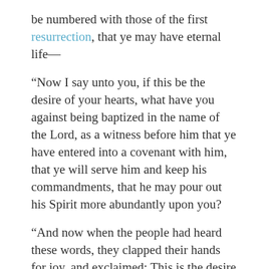be numbered with those of the first resurrection, that ye may have eternal life—
“Now I say unto you, if this be the desire of your hearts, what have you against being baptized in the name of the Lord, as a witness before him that ye have entered into a covenant with him, that ye will serve him and keep his commandments, that he may pour out his Spirit more abundantly upon you?
“And now when the people had heard these words, they clapped their hands for joy, and exclaimed: This is the desire of our hearts.”2
You may not have clapped your hands when you first heard that invitation to covenant by